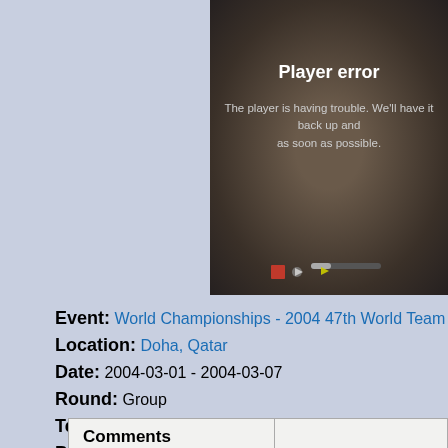[Figure (screenshot): Video player showing a player error message with blurred background image of a person. Error text reads 'Player error' and 'The player is having trouble. We'll have it back up and as soon as possible.']
Event: World Championships - 2004 47th World Team Table Tennis C
Location: Doha, Qatar
Date: 2004-03-01 - 2004-03-07
Round: Group
Teams: China vs Singapore
Players: Zhang Yining, Li Jiawei
| Comments |  |
| --- | --- |